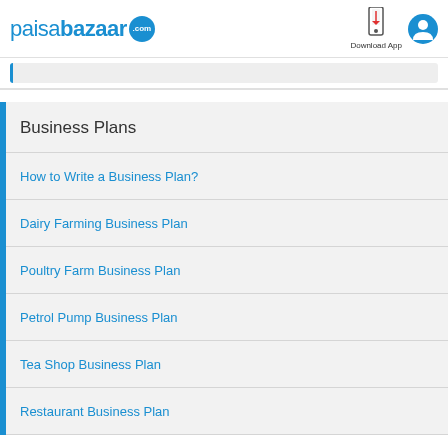paisabazaar.com — Download App
Business Plans
How to Write a Business Plan?
Dairy Farming Business Plan
Poultry Farm Business Plan
Petrol Pump Business Plan
Tea Shop Business Plan
Restaurant Business Plan